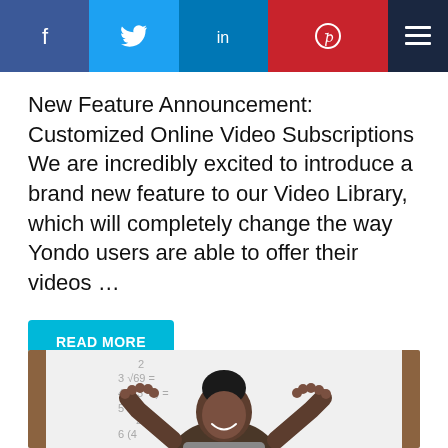[Figure (other): Social media share bar with Facebook, Twitter, LinkedIn, Pinterest buttons and a hamburger menu icon]
New Feature Announcement: Customized Online Video Subscriptions We are incredibly excited to introduce a brand new feature to our Video Library, which will completely change the way Yondo users are able to offer their videos …
READ MORE
[Figure (photo): A smiling woman with braided hair in an updo, raising both hands, standing in front of a whiteboard with math equations]